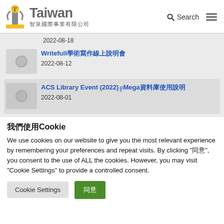Taiwan 智泉國際事業有限公司 — Search
2022-08-18
Writefull學術寫作線上說明會
2022-08-12
ACS Library Event (2022)╔Mega資料庫使用說明
2022-08-01
我們使用Cookie
We use cookies on our website to give you the most relevant experience by remembering your preferences and repeat visits. By clicking "同意", you consent to the use of ALL the cookies. However, you may visit "Cookie Settings" to provide a controlled consent.
Cookie Settings  同意